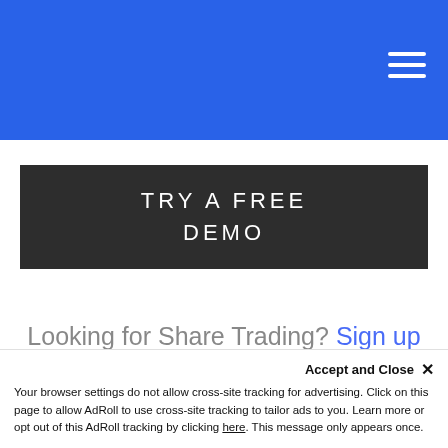TRY A FREE DEMO
Looking for Share Trading? Sign up here
Recent Posts
Accept and Close ×
Your browser settings do not allow cross-site tracking for advertising. Click on this page to allow AdRoll to use cross-site tracking to tailor ads to you. Learn more or opt out of this AdRoll tracking by clicking here. This message only appears once.